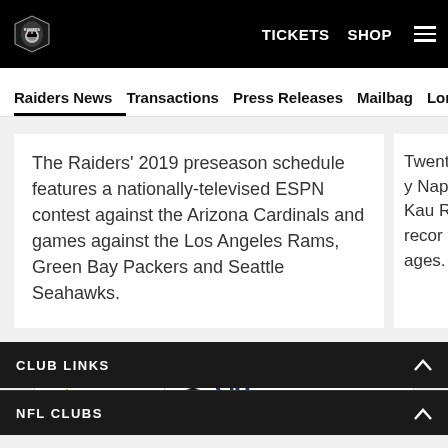Raiders | TICKETS SHOP
Raiders News | Transactions | Press Releases | Mailbag | Longform
The Raiders' 2019 preseason schedule features a nationally-televised ESPN contest against the Arizona Cardinals and games against the Los Angeles Rams, Green Bay Packers and Seattle Seahawks.
Twenty-one y Napoleon Kau Raiders recor the ages.
[Figure (other): Allegiant and Raiders Go Long advertisement banner with VIEW DEALS link]
CLUB LINKS
NFL CLUBS
[Figure (other): Social media icons row: Facebook, Twitter, Email, Link]